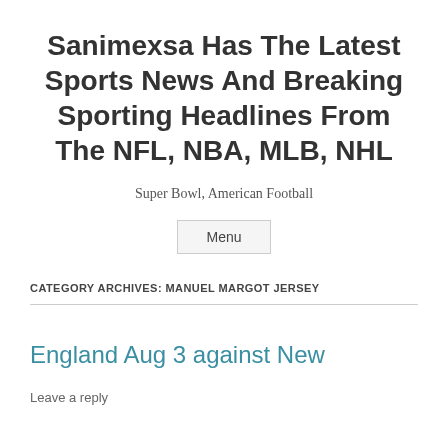Sanimexsa Has The Latest Sports News And Breaking Sporting Headlines From The NFL, NBA, MLB, NHL
Super Bowl, American Football
Menu
CATEGORY ARCHIVES: MANUEL MARGOT JERSEY
England Aug 3 against New
Leave a reply